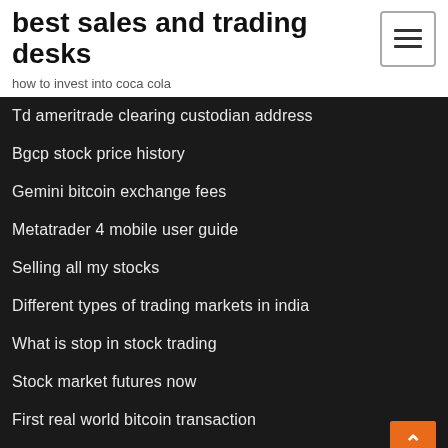best sales and trading desks
how to invest into coca cola
Td ameritrade clearing custodian address
Bgcp stock price history
Gemini bitcoin exchange fees
Metatrader 4 mobile user guide
Selling all my stocks
Different types of trading markets in india
What is stop in stock trading
Stock market futures now
First real world bitcoin transaction
Scg stock history